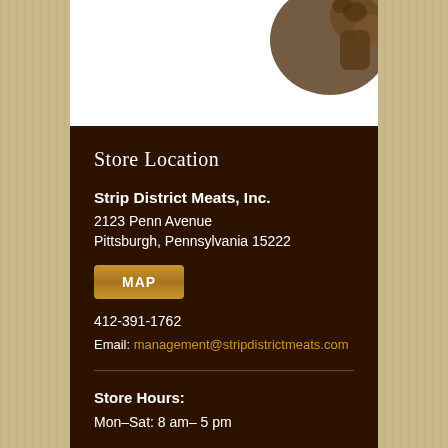[Figure (photo): Partial photo of a cow or cattle statue in the upper right corner of the content card, sepia/dark tones.]
Store Location
Strip District Meats, Inc.
2123 Penn Avenue
Pittsburgh, Pennsylvania 15222
MAP
412-391-1762
Email: management@stripdistrictmeats.com
Store Hours:
Mon–Sat: 8 am– 5 pm